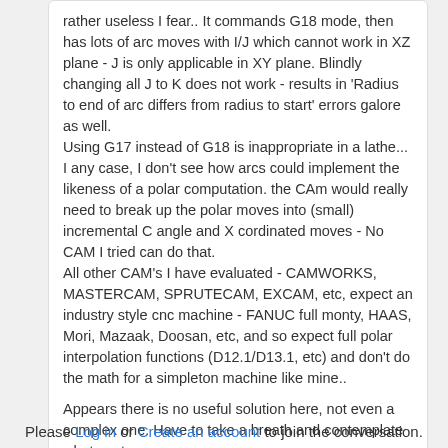rather useless I fear.. It commands G18 mode, then has lots of arc moves with I/J which cannot work in XZ plane - J is only applicable in XY plane. Blindly changing all J to K does not work - results in 'Radius to end of arc differs from radius to start' errors galore as well.
Using G17 instead of G18 is inappropriate in a lathe...
I any case, I don't see how arcs could implement the likeness of a polar computation. the CAm would really need to break up the polar moves into (small) incremental C angle and X cordinated moves - No CAM I tried can do that.
All other CAM's I have evaluated - CAMWORKS, MASTERCAM, SPRUTECAM, EXCAM, etc, expect an industry style cnc machine - FANUC full monty, HAAS, Mori, Mazaak, Doosan, etc, and so expect full polar interpolation functions (D12.1/D13.1, etc) and don't do the math for a simpleton machine like mine..

Appears there is no useful solution here, not even a complex one. Have to take a breath and contemplate what next..
Please Log in or Create an account to join the conversation.